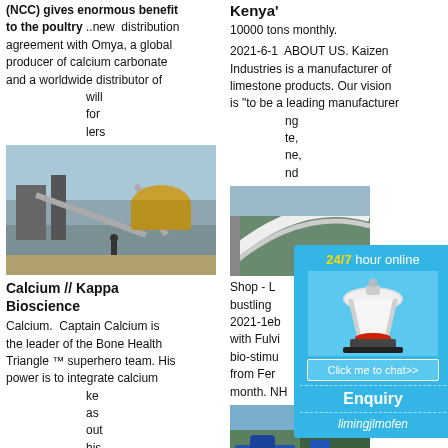(NCC) gives enormous benefit to the poultry ..new distribution agreement with Omya, a global producer of calcium carbonate and a worldwide distributor of will for lers
[Figure (photo): Industrial calcium carbonate processing facility with conveyor belts and machinery outdoors]
Calcium // Kappa Bioscience
Calcium. Captain Calcium is the leader of the Bone Health Triangle ™ superhero team. His power is to integrate calcium ke as out his
[Figure (photo): Industrial blue storage tanks inside a large arched facility with workers]
Kenya' 10000 tons monthly.
2021-6-1 ABOUT US. Kaizen Industries is a manufacturer of limestone products. Our vision is "to be a leading manufacturer ng te, ne, nd
[Figure (photo): Aerial or elevated view of industrial conveyor structure]
Shop - L bustling 2021-1eb with Fulvi bio-stimu from Fer month. NH
[Figure (infographic): 24/7 hour online advertisement with a cone crusher machine image, chat button, Enquiry heading, and limingjlmofen username]
[Figure (photo): Outdoor industrial site with blue machinery and green vegetation]